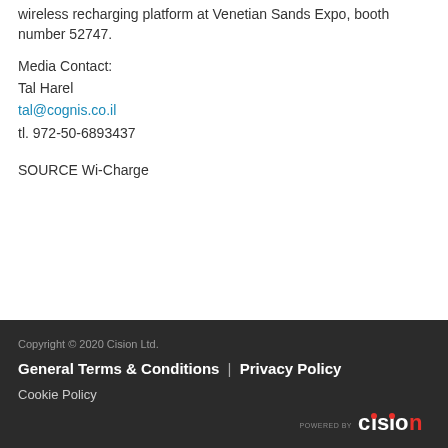wireless recharging platform at Venetian Sands Expo, booth number 52747.
Media Contact:
Tal Harel
tal@cognis.co.il
tl. 972-50-6893437
SOURCE Wi-Charge
Copyright © 2020 Cision Ltd.
General Terms & Conditions | Privacy Policy
Cookie Policy